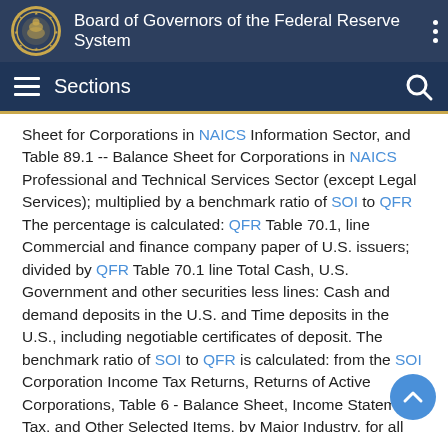Board of Governors of the Federal Reserve System
Sections
Sheet for Corporations in NAICS Information Sector, and Table 89.1 -- Balance Sheet for Corporations in NAICS Professional and Technical Services Sector (except Legal Services); multiplied by a benchmark ratio of SOI to QFR The percentage is calculated: QFR Table 70.1, line Commercial and finance company paper of U.S. issuers; divided by QFR Table 70.1 line Total Cash, U.S. Government and other securities less lines: Cash and demand deposits in the U.S. and Time deposits in the U.S., including negotiable certificates of deposit. The benchmark ratio of SOI to QFR is calculated: from the SOI Corporation Income Tax Returns, Returns of Active Corporations, Table 6 - Balance Sheet, Income Statement, Tax, and Other Selected Items, by Major Industry, for all